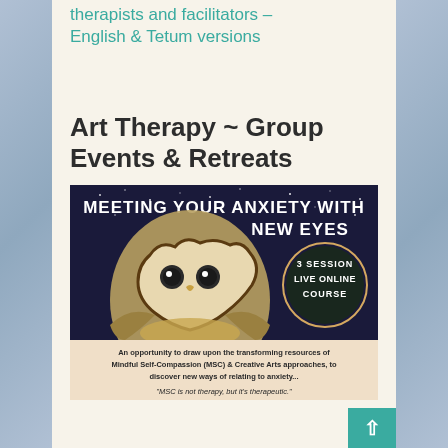therapists and facilitators – English & Tetum versions
Art Therapy ~ Group Events & Retreats
[Figure (illustration): Promotional image for 'Meeting Your Anxiety With New Eyes' – a 3 session live online course. Shows a barn owl face-on against a dark starry background with text overlay. Below the owl image is a peach/cream banner with text: 'An opportunity to draw upon the transforming resources of Mindful Self-Compassion (MSC) & Creative Arts approaches, to discover new ways of relating to anxiety...' and a partial quote: '"MSC is not therapy, but it's therapeutic."' A circular badge on the right reads '3 SESSION LIVE ONLINE COURSE'.]